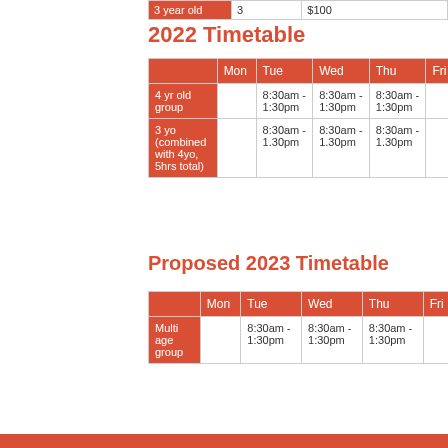|  | Mon | Tue | Wed | Thu | Fri |
| --- | --- | --- | --- | --- | --- |
| 3 year old | 3 | $100 |  |  |  |
2022 Timetable
|  | Mon | Tue | Wed | Thu | Fri |
| --- | --- | --- | --- | --- | --- |
| 4 yr old group |  | 8:30am - 1:30pm | 8:30am - 1:30pm | 8:30am - 1:30pm |  |
| 3 yo (combined with 4yo, 5hrs total) |  | 8:30am - 1.30pm | 8:30am - 1.30pm | 8:30am - 1.30pm |  |
Proposed 2023 Timetable
|  | Mon | Tue | Wed | Thu | Fri |
| --- | --- | --- | --- | --- | --- |
| Multi age group |  | 8:30am - 1:30pm | 8:30am - 1:30pm | 8:30am - 1:30pm |  |